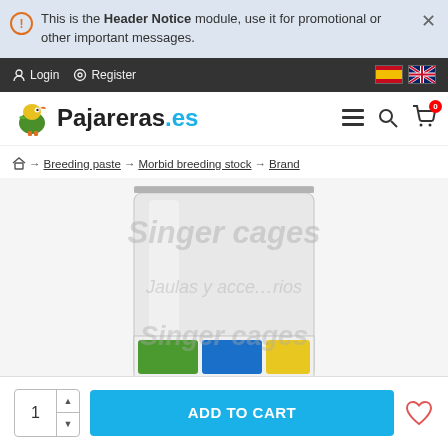This is the Header Notice module, use it for promotional or other important messages.
Login  Register
[Figure (logo): Pajareras.es logo with a yellow bird illustration, site name in dark and blue text, plus hamburger, search and cart icons]
Home → Breeding paste → Morbid breeding stock → Brand → Pineta → Blanco Español Pineta 1 Kg
[Figure (photo): Blanco Español Pineta 1 Kg product bag, white/silver resealable plastic bag with product label at the bottom. Watermark text: Singer cages / Jaulas y acce...nios]
1  ADD TO CART  ♡